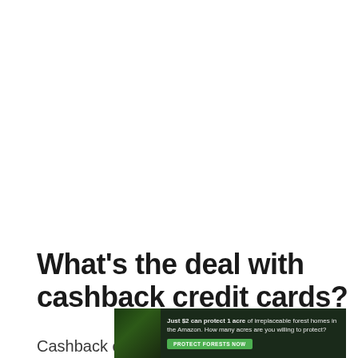What's the deal with cashback credit cards?
Cashback credit cards can be worthwhile if
[Figure (infographic): Advertisement banner with dark forest background image on left, white text reading 'Just $2 can protect 1 acre of irreplaceable forest homes in the Amazon. How many acres are you willing to protect?' and a green 'PROTECT FORESTS NOW' button]